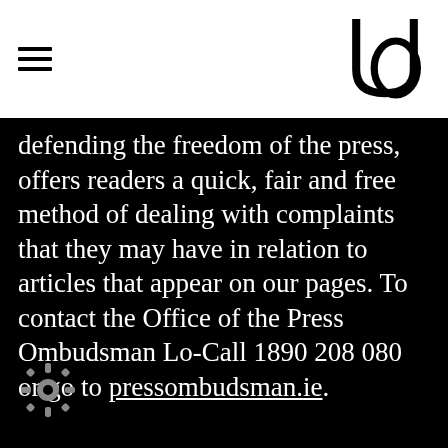[hamburger menu icon] [UO logo]
defending the freedom of the press, offers readers a quick, fair and free method of dealing with complaints that they may have in relation to articles that appear on our pages. To contact the Office of the Press Ombudsman Lo-Call 1890 208 080 or go to pressombudsman.ie.
[Figure (other): Settings/gear icon in bottom-left corner]